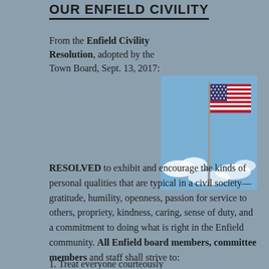OUR ENFIELD CIVILITY
From the Enfield Civility Resolution, adopted by the Town Board, Sept. 13, 2017:
[Figure (photo): An American flag on a pole against a blue sky with white clouds]
RESOLVED to exhibit and encourage the kinds of personal qualities that are typical in a civil society—gratitude, humility, openness, passion for service to others, propriety, kindness, caring, sense of duty, and a commitment to doing what is right in the Enfield community. All Enfield board members, committee members and staff shall strive to:
1. Treat everyone courteously